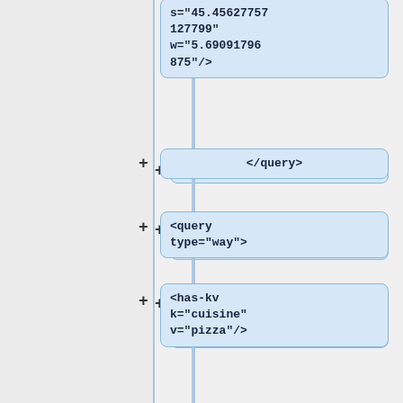[Figure (screenshot): A vertical flowchart/tree diagram showing XML query nodes. The visible nodes from top to bottom are: a truncated bbox-query node (s='45.45627757127799' w='5.69091796875'/>), a closing </query> node, a <query type='way'> node, a <has-kv k='cuisine' v='pizza'/> node, and a <bbox-query e='10.5194091796875' n='47.92738566360356' s='45.45627757127799' w='5.69091796875'/> node. Each node is shown in a blue-tinted rounded rectangle with a + sign to its left, connected by a vertical blue line.]